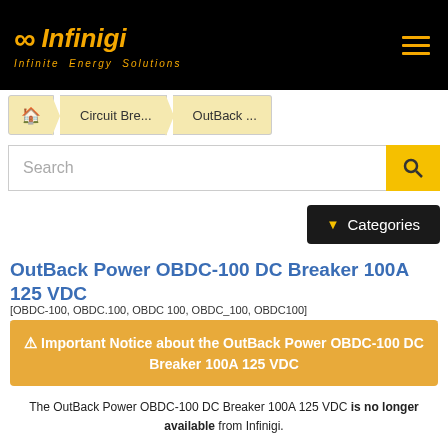[Figure (logo): Infinigi logo with infinity symbol and tagline 'Infinite Energy Solutions' on black background]
Circuit Bre... > OutBack ...
Search
▼ Categories
OutBack Power OBDC-100 DC Breaker 100A 125 VDC
[OBDC-100, OBDC.100, OBDC 100, OBDC_100, OBDC100]
⚠ Important Notice about the OutBack Power OBDC-100 DC Breaker 100A 125 VDC
The OutBack Power OBDC-100 DC Breaker 100A 125 VDC is no longer available from Infinigi.
Regrettably, we do not have any inventory left nor have access to this product as it is discontinued. However, OutBack Power has replaced the OBDC-100 with the following item:
.Outback Power PNL-100-DC Panel Mount DC Breaker